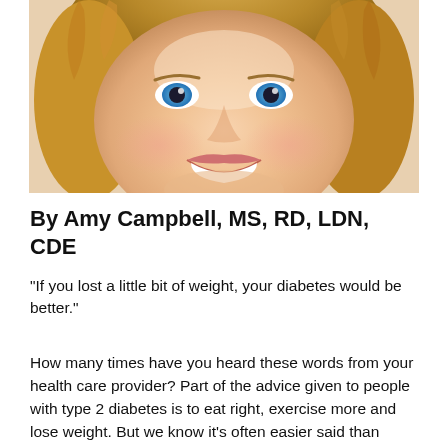[Figure (photo): Close-up photo of a smiling woman with blonde curly hair and blue eyes]
By Amy Campbell, MS, RD, LDN, CDE
“If you lost a little bit of weight, your diabetes would be better.”
How many times have you heard these words from your health care provider?  Part of the advice given to people with type 2 diabetes is to eat right, exercise more and lose weight. But we know it’s often easier said than done.  Losing weight is possible, but it is hard work.  Wouldn’t it be great if you could eat certain foods and the pounds would just melt away? Remove for health-related context